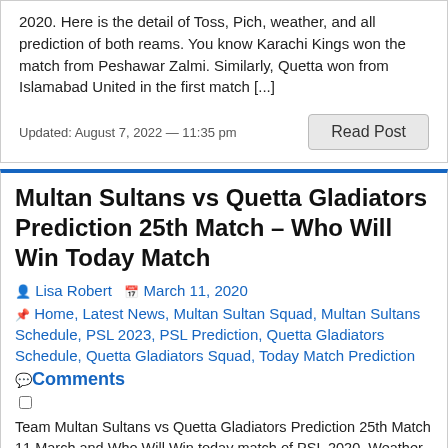2020. Here is the detail of Toss, Pich, weather, and all prediction of both reams. You know Karachi Kings won the match from Peshawar Zalmi. Similarly, Quetta won from Islamabad United in the first match [...]
Updated: August 7, 2022 — 11:35 pm
Read Post
Multan Sultans vs Quetta Gladiators Prediction 25th Match – Who Will Win Today Match
Lisa Robert   March 11, 2020
Home, Latest News, Multan Sultan Squad, Multan Sultans Schedule, PSL 2023, PSL Prediction, Quetta Gladiators Schedule, Quetta Gladiators Squad, Today Match Prediction
Comments
Team Multan Sultans vs Quetta Gladiators Prediction 25th Match 11 March and Who Will Win today match of PSL 2020. Weather, Pitch, Toss, Head to Head brief about Full Match